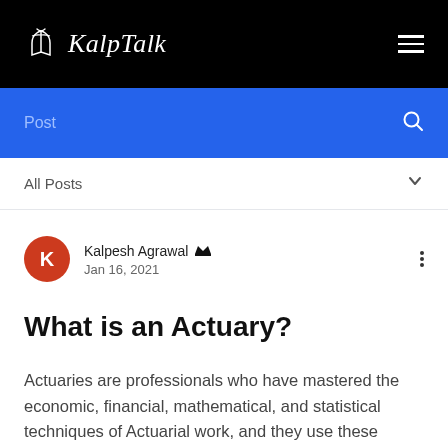KalpTalk
Post
All Posts
Kalpesh Agrawal  Admin
Jan 16, 2021
What is an Actuary?
Actuaries are professionals who have mastered the economic, financial, mathematical, and statistical techniques of Actuarial work, and they use these techniques to advise many enterprises,